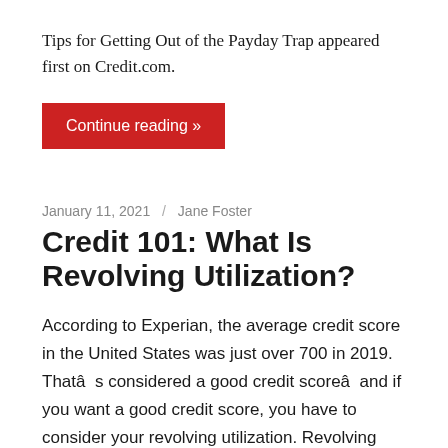Tips for Getting Out of the Payday Trap appeared first on Credit.com.
Continue reading »
January 11, 2021 / Jane Foster
Credit 101: What Is Revolving Utilization?
According to Experian, the average credit score in the United States was just over 700 in 2019. Thatâ  s considered a good credit scoreâ  and if you want a good credit score, you have to consider your revolving utilization. Revolving utilization measures the amount of revolving credit limits that you are currently using, and it